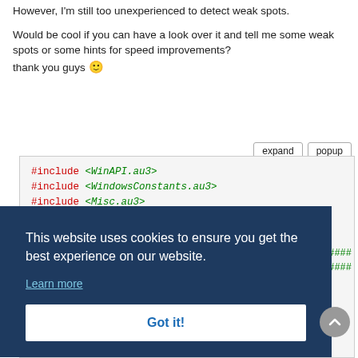However, I'm still too unexperienced to detect weak spots.
Would be cool if you can have a look over it and tell me some weak spots or some hints for speed improvements?
thank you guys 🙂
[Figure (screenshot): Code editor snippet showing #include <WinAPI.au3>, #include <WindowsConstants.au3>, #include <Misc.au3> with expand and popup buttons]
This website uses cookies to ensure you get the best experience on our website.
Learn more
Got it!